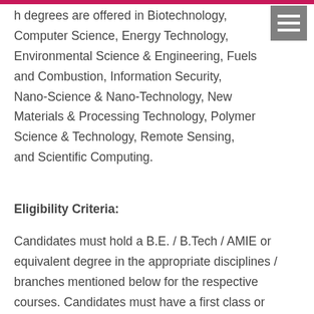h degrees are offered in Biotechnology, Computer Science, Energy Technology, Environmental Science & Engineering, Fuels and Combustion, Information Security, Nano-Science & Nano-Technology, New Materials & Processing Technology, Polymer Science & Technology, Remote Sensing, and Scientific Computing.
Eligibility Criteria:
Candidates must hold a B.E. / B.Tech / AMIE or equivalent degree in the appropriate disciplines / branches mentioned below for the respective courses. Candidates must have a first class or minimum 60% marks in average (45% for SC/ST)